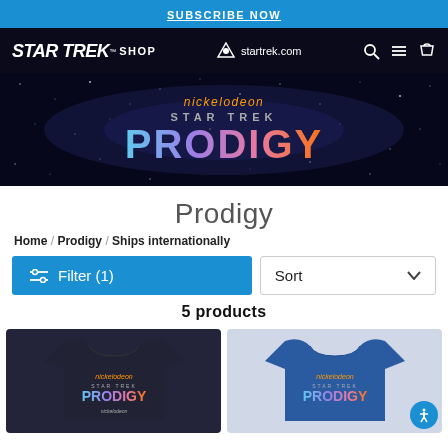SUBSCRIBE NOW
STAR TREK™ SHOP | startrek.com
[Figure (screenshot): Nickelodeon Star Trek Prodigy banner with space background and holographic PRODIGY logo]
Prodigy
Home / Prodigy / Ships internationally
Filter (1)  Sort
5 products
[Figure (photo): Dark navy t-shirt with Nickelodeon Star Trek Prodigy logo]
[Figure (photo): Blue t-shirt with Nickelodeon Star Trek Prodigy logo]